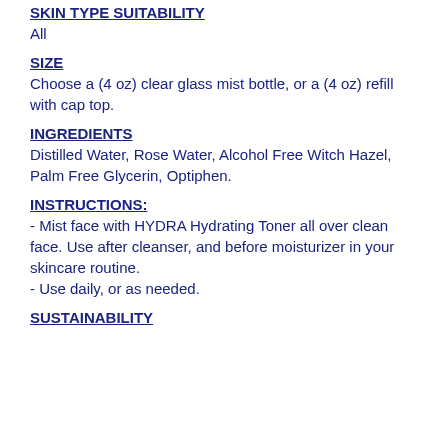SKIN TYPE SUITABILITY
All
SIZE
Choose a (4 oz) clear glass mist bottle, or a (4 oz) refill with cap top.
INGREDIENTS
Distilled Water, Rose Water, Alcohol Free Witch Hazel, Palm Free Glycerin, Optiphen.
INSTRUCTIONS:
- Mist face with HYDRA Hydrating Toner all over clean face. Use after cleanser, and before moisturizer in your skincare routine.
- Use daily, or as needed.
SUSTAINABILITY